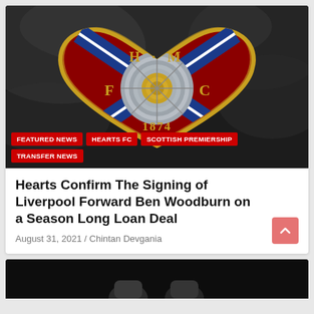[Figure (photo): Heart of Midlothian FC crest/badge on dark smoky background, showing H·M F·C letters and year 1874]
FEATURED NEWS
HEARTS FC
SCOTTISH PREMIERSHIP
TRANSFER NEWS
Hearts Confirm The Signing of Liverpool Forward Ben Woodburn on a Season Long Loan Deal
August 31, 2021 / Chintan Devgania
[Figure (photo): Partial bottom image, dark background with two people visible from chest down]